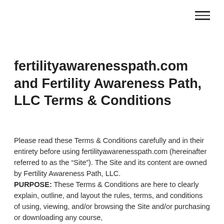☰
fertilityawarenesspath.com and Fertility Awareness Path, LLC Terms & Conditions
Please read these Terms & Conditions carefully and in their entirety before using fertilityawarenesspath.com (hereinafter referred to as the “Site”). The Site and its content are owned by Fertility Awareness Path, LLC.
PURPOSE: These Terms & Conditions are here to clearly explain, outline, and layout the rules, terms, and conditions of using, viewing, and/or browsing the Site and/or purchasing or downloading any course,